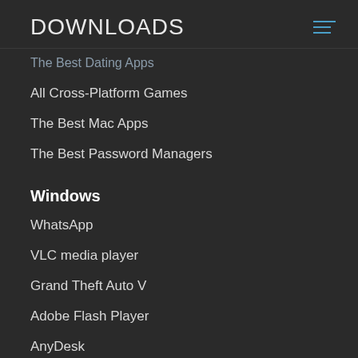DOWNLOADS
The Best Dating Apps
All Cross-Platform Games
The Best Mac Apps
The Best Password Managers
Windows
WhatsApp
VLC media player
Grand Theft Auto V
Adobe Flash Player
AnyDesk
Android
Google Play
Mobile Legends Bang Bang
Garena Free Fire